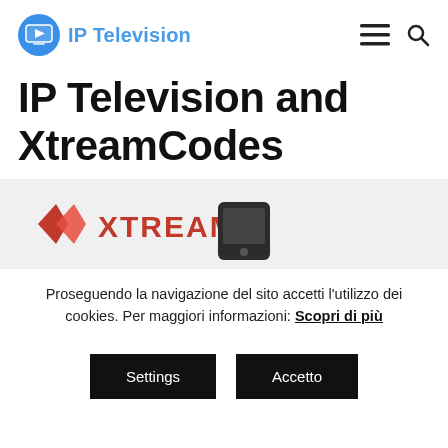IP Television
IP Television and XtreamCodes
[Figure (logo): Xtream Codes logo with red diamond/arrow icon and XTREAM text, alongside a dark remote control device]
Proseguendo la navigazione del sito accetti l'utilizzo dei cookies. Per maggiori informazioni: Scopri di più
Settings | Accetto